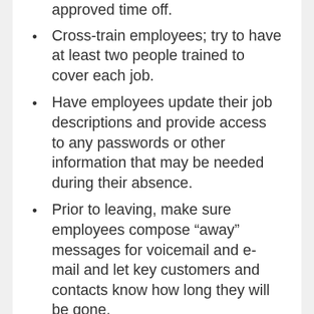create a master calendar and record all approved time off.
Cross-train employees; try to have at least two people trained to cover each job.
Have employees update their job descriptions and provide access to any passwords or other information that may be needed during their absence.
Prior to leaving, make sure employees compose “away” messages for voicemail and e-mail and let key customers and contacts know how long they will be gone.
Benefits Are the Bottom Line